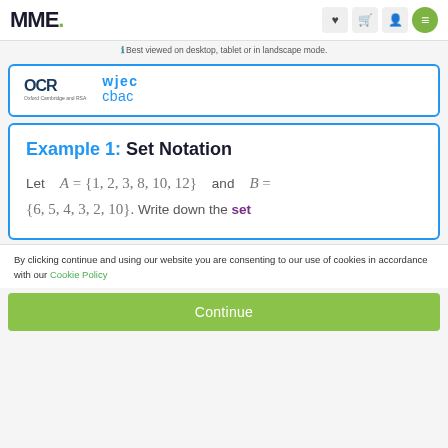MME.
Best viewed on desktop, tablet or in landscape mode.
[Figure (logo): OCR Oxford Cambridge and RSA logo and WJEC CBAC logo inside a blue-bordered card]
Example 1: Set Notation
Let A = {1, 2, 3, 8, 10, 12} and B = {6, 5, 4, 3, 2, 10}. Write down the set
By clicking continue and using our website you are consenting to our use of cookies in accordance with our Cookie Policy
Continue